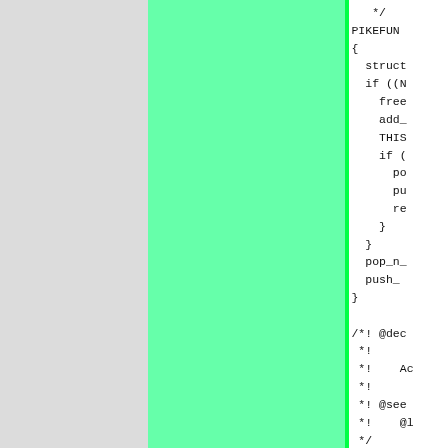[Figure (other): Three-column layout: left gray panel, center bright green panel with right border highlight, right white panel containing C source code]
*/
PIKEFUN
{
  struct
  if ((N
    free
    add_
    THIS
    if (
      po
      pu
      re
    }
  }
  pop_n_
  push_
}

/*! @dec
 *!
 *!    Ac
 *!
 *! @see
 *!    @l
 */
PIKEFUN
{
  if (!s
  if (st
    whi